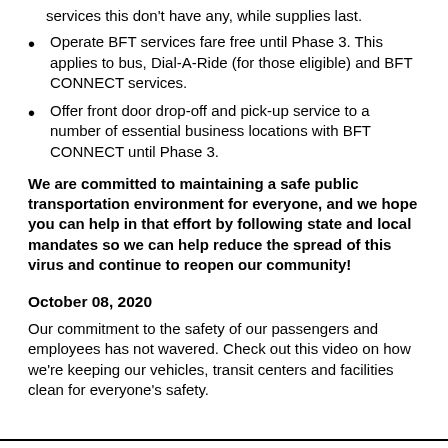services this don't have any, while supplies last.
Operate BFT services fare free until Phase 3. This applies to bus, Dial-A-Ride (for those eligible) and BFT CONNECT services.
Offer front door drop-off and pick-up service to a number of essential business locations with BFT CONNECT until Phase 3.
We are committed to maintaining a safe public transportation environment for everyone, and we hope you can help in that effort by following state and local mandates so we can help reduce the spread of this virus and continue to reopen our community!
October 08, 2020
Our commitment to the safety of our passengers and employees has not wavered. Check out this video on how we’re keeping our vehicles, transit centers and facilities clean for everyone’s safety.